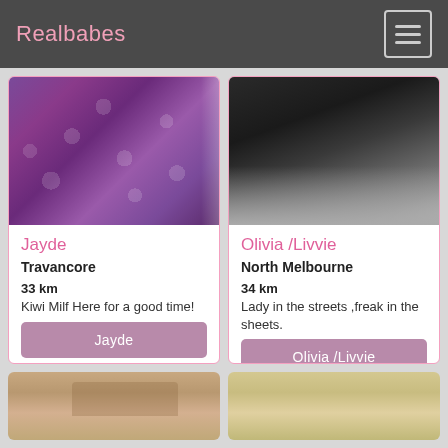Realbabes
[Figure (photo): Person in purple polka dot dress, back view]
Jayde
Travancore
33 km
Kiwi Milf Here for a good time!
[Figure (photo): Dark image of person with dark hair]
Olivia /Livvie
North Melbourne
34 km
Lady in the streets ,freak in the sheets.
[Figure (photo): Partial view of person, bottom card left]
[Figure (photo): Partial view of blonde person, bottom card right]